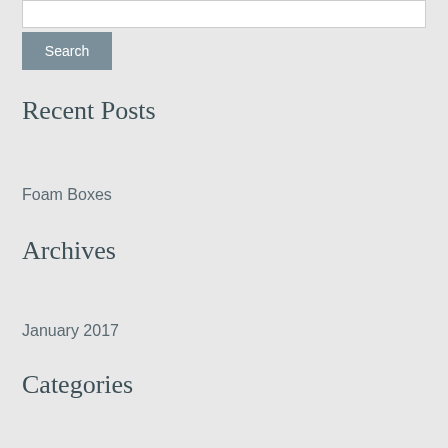Search
Recent Posts
Foam Boxes
Archives
January 2017
Categories